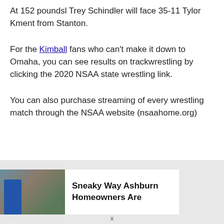At 152 poundsl Trey Schindler will face 35-11 Tylor Kment from Stanton.
For the Kimball fans who can't make it down to Omaha, you can see results on trackwrestling by clicking the 2020 NSAA state wrestling link.
You can also purchase streaming of every wrestling match through the NSAA website (nsaahome.org)
[Figure (infographic): Advertisement banner with a photo of a rooftop/worker on the left, white text area in center reading 'Sneaky Way Ashburn Homeowners Are', and a gray box on the right.]